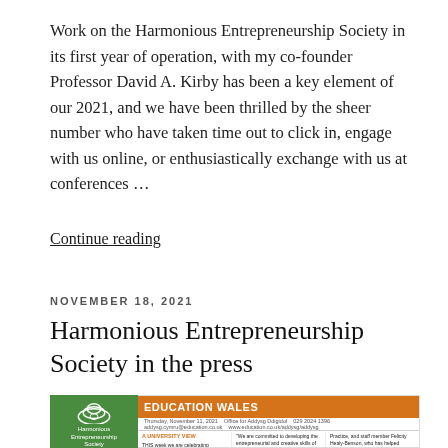Work on the Harmonious Entrepreneurship Society in its first year of operation, with my co-founder Professor David A. Kirby has been a key element of our 2021, and we have been thrilled by the sheer number who have taken time out to click in, engage with us online, or enthusiastically exchange with us at conferences …
Continue reading
NOVEMBER 18, 2021
Harmonious Entrepreneurship Society in the press
[Figure (screenshot): Screenshot of a newspaper/newsletter page titled 'EDUCATION WALES' with an orange header. Left side shows a green panel with the Harmonious Entrepreneurship Society logo. The newspaper includes a section titled 'A UNIVERSITY VIEW' and contains multiple columns of text.]